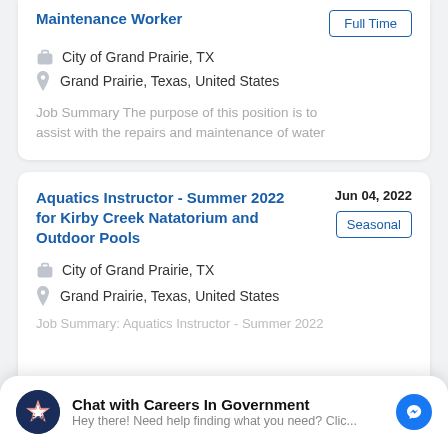Maintenance Worker
Full Time
City of Grand Prairie, TX
Grand Prairie, Texas, United States
Job Summary The purpose of this position is to assist with the repairs and maintenance of water
Aquatics Instructor - Summer 2022 for Kirby Creek Natatorium and Outdoor Pools
Jun 04, 2022
Seasonal
City of Grand Prairie, TX
Grand Prairie, Texas, United States
Job Summary: Aquatics Instructor - Summer 2022
Chat with Careers In Government
Hey there! Need help finding what you need? Clic...